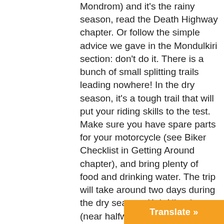Mondrom) and it's the rainy season, read the Death Highway chapter. Or follow the simple advice we gave in the Mondulkiri section: don't do it. There is a bunch of small splitting trails leading nowhere! In the dry season, it's a tough trail that will put your riding skills to the test. Make sure you have spare parts for your motorcycle (see Biker Checklist in Getting Around chapter), and bring plenty of food and drinking water. The trip will take around two days during the dry season. Koh Nheak town (near halfway) is the only place that sells bottled water and some food. Fuel is also available. Don't do it alone. It?s best to have some help if you have a breakdown or a mishap. You are a long way from help in most stretches of this remote trail. It would also be best to bring along a Khmer speaker as the trail sometimes intersects with other trails and you will want to clarify that you took the proper way when you do come acr somebody.
Translate »